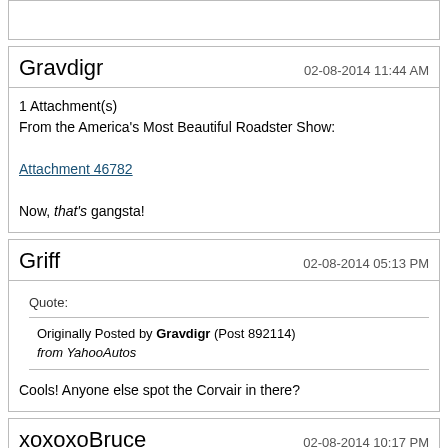[top stub - partial previous post]
Gravdigr — 02-08-2014 11:44 AM
1 Attachment(s)
From the America's Most Beautiful Roadster Show:

Attachment 46782

Now, that's gangsta!
Griff — 02-08-2014 05:13 PM
Quote:
Originally Posted by Gravdigr (Post 892114)
from YahooAutos

Cools! Anyone else spot the Corvair in there?
xoxoxoBruce — 02-08-2014 10:17 PM
No, :confused: